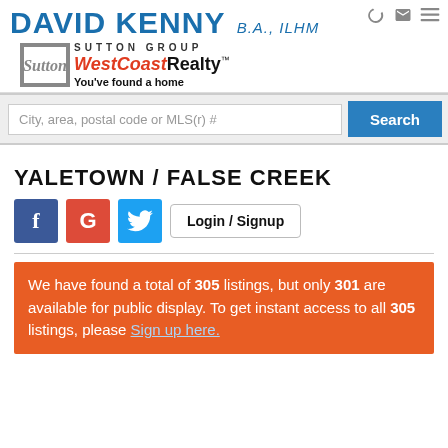DAVID KENNY B.A., ILHM — Sutton Group WestCoast Realty — You've found a home
City, area, postal code or MLS(r) #
YALETOWN / FALSE CREEK
[Figure (logo): Facebook, Google, and Twitter social icon buttons; Login / Signup button]
We have found a total of 305 listings, but only 301 are available for public display. To get instant access to all 305 listings, please Sign up here.